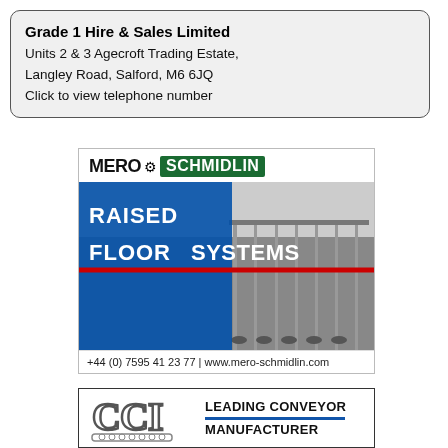Grade 1 Hire & Sales Limited
Units 2 & 3 Agecroft Trading Estate,
Langley Road, Salford, M6 6JQ
Click to view telephone number
[Figure (advertisement): Mero Schmidlin advertisement for Raised Floor Systems. Logo at top with MERO and SCHMIDLIN branding. Central image of raised floor installation in grey/blue tones with blue overlay panel. Text: RAISED FLOOR SYSTEMS. Contact: +44 (0) 7595 41 23 77 | www.mero-schmidlin.com]
[Figure (advertisement): CCI advertisement. CCI logo on left. Text: LEADING CONVEYOR MANUFACTURER on right side with blue underline.]